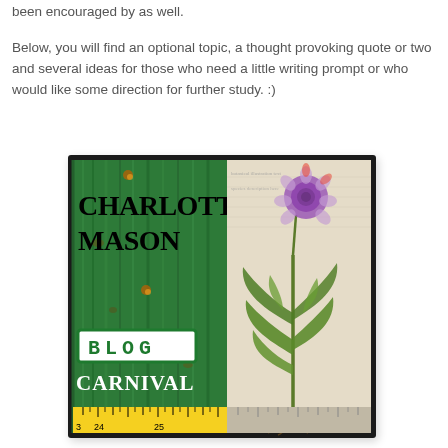been encouraged by as well.
Below, you will find an optional topic, a thought provoking quote or two and several ideas for those who need a little writing prompt or who would like some direction for further study. :)
[Figure (illustration): Charlotte Mason Blog Carnival logo image. Left half shows green distressed wood background with 'Charlotte Mason' in large black serif font, 'BLOG' in green block letters on white background, and 'Carnival' in white text. Right half shows botanical illustration of a plant with purple flower on aged paper background. Bottom has a yellow ruler strip with tick marks and numbers 24 and 25.]